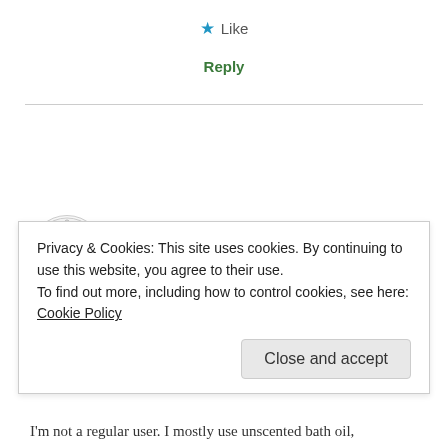★ Like
Reply
[Figure (illustration): Circular avatar illustration of a woman with flowing hair and floral elements, in a hand-drawn style, within a light gray circle border.]
Old Herbaceous | August 14, 2021 at 12:46 pm
For me, it really depends on the product. I tend to get
Privacy & Cookies: This site uses cookies. By continuing to use this website, you agree to their use.
To find out more, including how to control cookies, see here: Cookie Policy
Close and accept
I'm not a regular user. I mostly use unscented bath oil,